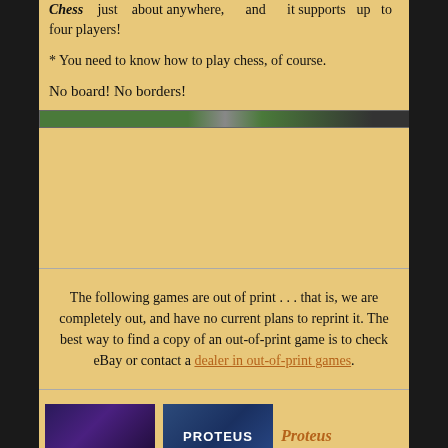Chess just about anywhere, and it supports up to four players!
* You need to know how to play chess, of course.
No board! No borders!
[Figure (other): Decorative horizontal divider bar with green and dark segments]
The following games are out of print . . . that is, we are completely out, and have no current plans to reprint it. The best way to find a copy of an out-of-print game is to check eBay or contact a dealer in out-of-print games.
[Figure (other): Two game cover thumbnails at bottom: a dark purple/blue image on the left and a PROTEUS logo box on the right, with the text 'Proteus' in italic orange beside them]